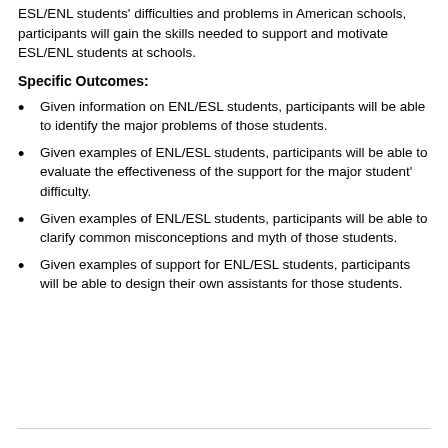ESL/ENL students' difficulties and problems in American schools, participants will gain the skills needed to support and motivate ESL/ENL students at schools.
Specific Outcomes:
Given information on ENL/ESL students, participants will be able to identify the major problems of those students.
Given examples of ENL/ESL students, participants will be able to evaluate the effectiveness of the support for the major student' difficulty.
Given examples of ENL/ESL students, participants will be able to clarify common misconceptions and myth of those students.
Given examples of support for ENL/ESL students, participants will be able to design their own assistants for those students.